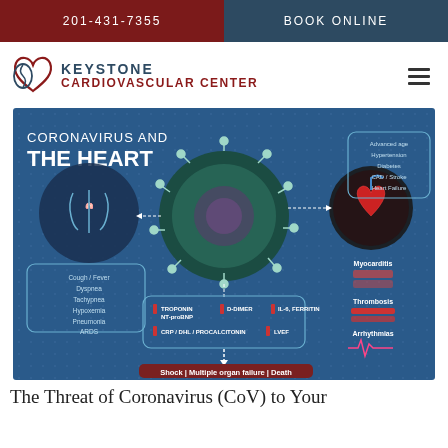201-431-7355 | BOOK ONLINE
[Figure (logo): Keystone Cardiovascular Center logo with heart icon]
[Figure (infographic): Coronavirus and the Heart infographic showing COVID-19 virus particle connected to lungs (symptoms: Cough/Fever, Dyspnea, Tachypnea, Hypoxemia, Pneumonia, ARDS), biomarkers (TROPONIN NT-proBNP, D-DIMER, IL-6 FERRITIN, CRP/DHL/PROCALCITONIN, LVEF), risk factors (Advanced age, Hypertension, Diabetes, CAD/Stroke, Heart Failure), and cardiac outcomes (Myocarditis, Thrombosis, Arrhythmias), leading to Shock, Multiple organ failure, Death]
The Threat of Coronavirus (CoV) to Your